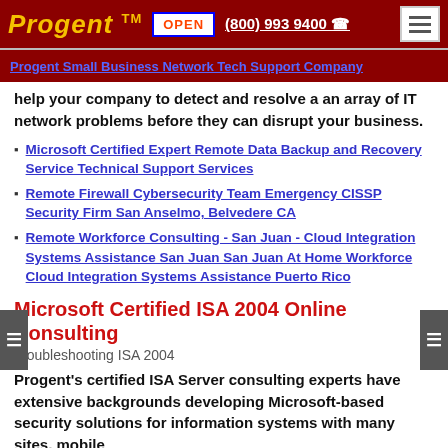Progent™   OPEN   (800) 993 9400   ☎
Progent Small Business Network Tech Support Company
help your company to detect and resolve a an array of IT network problems before they can disrupt your business.
Microsoft Certified Expert Remote Data Backup and Recovery Service Technical Support Services
Remote Firewall Cybersecurity Team Emergency CISSP Security Firm San Anselmo, Belvedere CA
Remote Workforce Consulting - San Juan - Cloud Integration Systems Assistance San Juan San Juan At Home Workforce Cloud Integration Systems Assistance Puerto Rico
Microsoft Certified ISA 2004 Online Consulting
Troubleshooting ISA 2004
Progent's certified ISA Server consulting experts have extensive backgrounds developing Microsoft-based security solutions for information systems with many sites, mobile